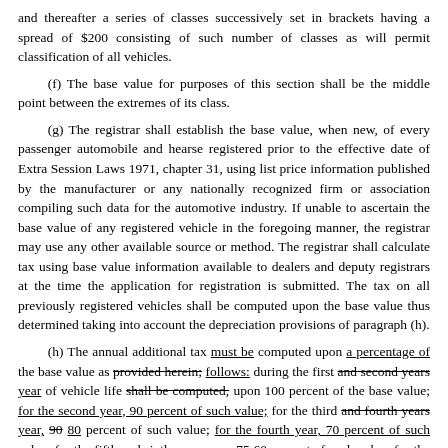and thereafter a series of classes successively set in brackets having a spread of $200 consisting of such number of classes as will permit classification of all vehicles.
(f) The base value for purposes of this section shall be the middle point between the extremes of its class.
(g) The registrar shall establish the base value, when new, of every passenger automobile and hearse registered prior to the effective date of Extra Session Laws 1971, chapter 31, using list price information published by the manufacturer or any nationally recognized firm or association compiling such data for the automotive industry. If unable to ascertain the base value of any registered vehicle in the foregoing manner, the registrar may use any other available source or method. The registrar shall calculate tax using base value information available to dealers and deputy registrars at the time the application for registration is submitted. The tax on all previously registered vehicles shall be computed upon the base value thus determined taking into account the depreciation provisions of paragraph (h).
(h) The annual additional tax must be computed upon a percentage of the base value as provided herein; follows: during the first and second years year of vehicle life shall be computed, upon 100 percent of the base value; for the second year, 90 percent of such value; for the third and fourth years year, 90 80 percent of such value; for the fourth year, 70 percent of such value; for the fifth and sixth years year, 75 60 percent of such value; for the sixth year, 50 percent of such value; for the seventh year, 60 40 percent of such value; for the eighth year, 40 30 percent of such value; for the ninth year, 30 20 percent of such value; for the tenth year, ten percent of such value; for the 11th and each succeeding